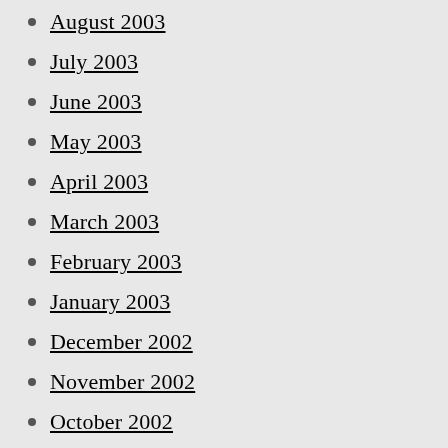August 2003
July 2003
June 2003
May 2003
April 2003
March 2003
February 2003
January 2003
December 2002
November 2002
October 2002
September 2002
August 2002
July 2002
June 2002
May 2002
April 2002
March 2002
February 2002
January 2002
December 2001
November 2001
October 2001
September 2001
August 2001